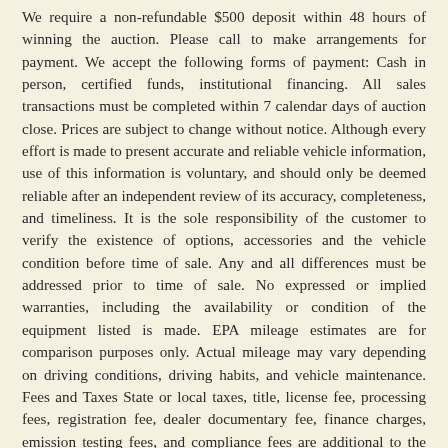We require a non-refundable $500 deposit within 48 hours of winning the auction. Please call to make arrangements for payment. We accept the following forms of payment: Cash in person, certified funds, institutional financing. All sales transactions must be completed within 7 calendar days of auction close. Prices are subject to change without notice. Although every effort is made to present accurate and reliable vehicle information, use of this information is voluntary, and should only be deemed reliable after an independent review of its accuracy, completeness, and timeliness. It is the sole responsibility of the customer to verify the existence of options, accessories and the vehicle condition before time of sale. Any and all differences must be addressed prior to time of sale. No expressed or implied warranties, including the availability or condition of the equipment listed is made. EPA mileage estimates are for comparison purposes only. Actual mileage may vary depending on driving conditions, driving habits, and vehicle maintenance. Fees and Taxes State or local taxes, title, license fee, processing fees, registration fee, dealer documentary fee, finance charges, emission testing fees, and compliance fees are additional to the advertised price.